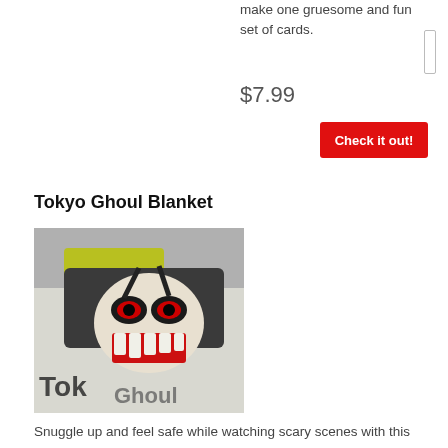make one gruesome and fun set of cards.
$7.99
Check it out!
Tokyo Ghoul Blanket
[Figure (photo): A Tokyo Ghoul themed blanket draped over a yellow chair, showing the ghoul face with teeth and the Tokyo Ghoul logo text on a grey/white blanket.]
Snuggle up and feel safe while watching scary scenes with this